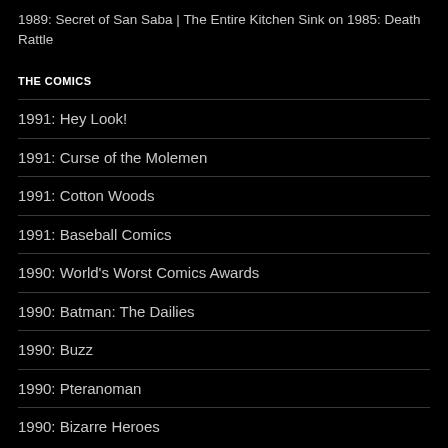1989: Secret of San Saba | The Entire Kitchen Sink on 1985: Death Rattle
THE COMICS
1991: Hey Look!
1991: Curse of the Molemen
1991: Cotton Woods
1991: Baseball Comics
1990: World's Worst Comics Awards
1990: Batman: The Dailies
1990: Buzz
1990: Pteranoman
1990: Bizarre Heroes